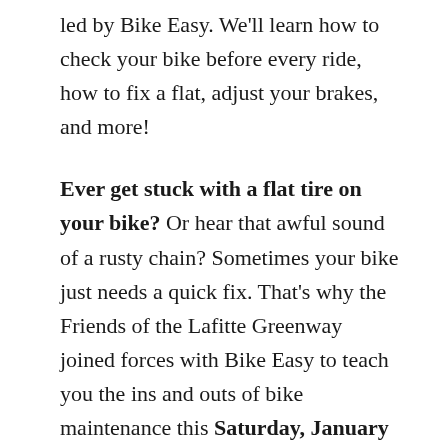led by Bike Easy. We'll learn how to check your bike before every ride, how to fix a flat, adjust your brakes, and more!
Ever get stuck with a flat tire on your bike? Or hear that awful sound of a rusty chain? Sometimes your bike just needs a quick fix. That's why the Friends of the Lafitte Greenway joined forces with Bike Easy to teach you the ins and outs of bike maintenance this Saturday, January 9th from 10:30 am until NOON. You'll learn how to fix a flat, adjust your brakes, and more!